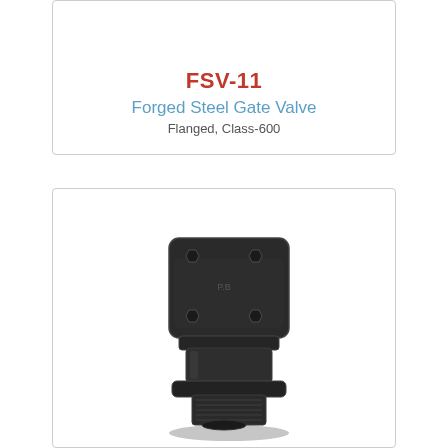FSV-11
Forged Steel Gate Valve
Flanged, Class-600
[Figure (photo): Photograph of a forged steel check valve or gate valve body, dark/black finish, viewed from above at a slight angle showing four hex bolts on top of a square bonnet, with a cylindrical body below and threaded end connections visible at the bottom.]